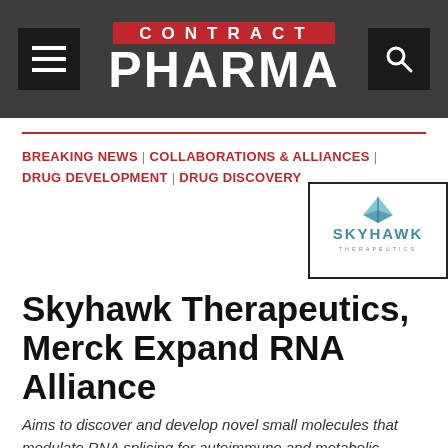CONTRACT PHARMA
BREAKING NEWS | COLLABORATIONS & ALLIANCES | DRUG DEVELOPMENT | DRUG DISCOVERY
[Figure (logo): Skyhawk Therapeutics logo with stylized hawk icon above the text SKYHAWK THERAPEUTICS]
Skyhawk Therapeutics, Merck Expand RNA Alliance
Aims to discover and develop novel small molecules that modulate RNA splicing for autoimmune and metabolic diseases
Contract Pharma Staff • 05.13.20